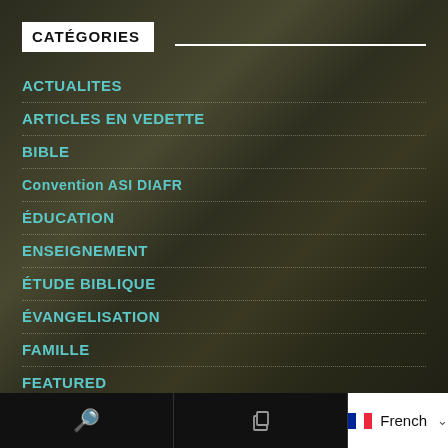CATÉGORIES
ACTUALITES
ARTICLES EN VEDETTE
BIBLE
Convention ASI DIAFR
ÉDUCATION
ENSEIGNEMENT
ÉTUDE BIBLIQUE
ÉVANGELISATION
FAMILLE
FEATURED
FILMS
LA RÉPONSE DU PASTEUR
French